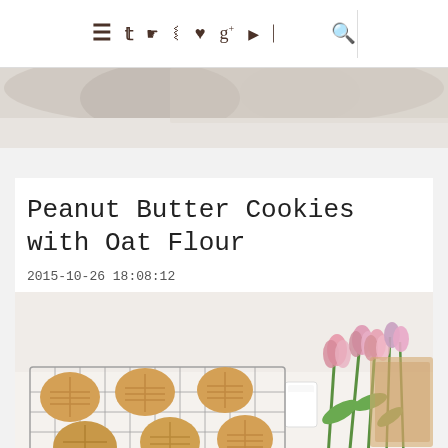≡ 𝕏 📷 𝓟 ♥ g+ ▶ RSS 🔍
[Figure (photo): Partially visible food photo at top of page, cropped]
Peanut Butter Cookies with Oat Flour
2015-10-26 18:08:12
[Figure (photo): Peanut butter cookies on a wire cooling rack with pink tulips and a glass of milk in the background on a white surface]
Classic peanut butter cookies; they're delicious, easy-to-make,